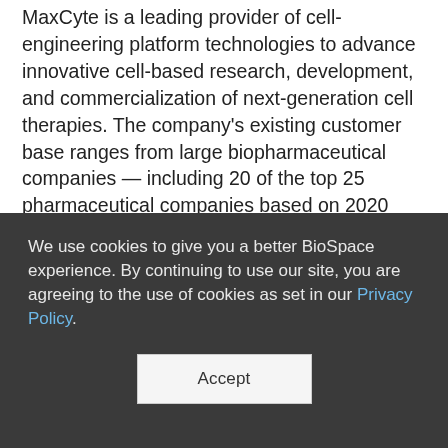MaxCyte is a leading provider of cell-engineering platform technologies to advance innovative cell-based research, development, and commercialization of next-generation cell therapies. The company's existing customer base ranges from large biopharmaceutical companies — including 20 of the top 25 pharmaceutical companies based on 2020 global revenue — to hundreds of biotechnology companies and academic translational research centers. MaxCyte has granted 16 strategic platform licenses to commercial cell therapy developers that allow for more than 75 clinical
We use cookies to give you a better BioSpace experience. By continuing to use our site, you are agreeing to the use of cookies as set in our Privacy Policy.
Accept